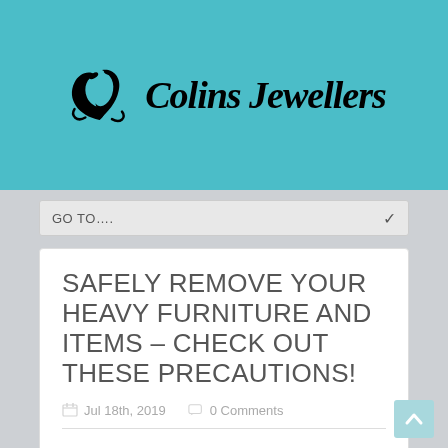[Figure (logo): Colins Jewellers logo with decorative bird/script emblem on teal background]
GO TO....
SAFELY REMOVE YOUR HEAVY FURNITURE AND ITEMS – CHECK OUT THESE PRECAUTIONS!
Jul 18th, 2019   0 Comments
Moving to a new place requires a large effort of heavy lifting, and if you're not careful enough, you can hurt and